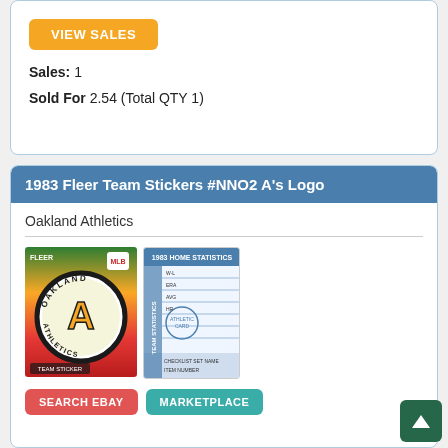VIEW SALES
Sales: 1
Sold For 2.54 (Total QTY 1)
1983 Fleer Team Stickers #NNO2 A's Logo
Oakland Athletics
[Figure (photo): Front and back images of a 1983 Fleer Team Stickers Oakland Athletics logo card. Front shows the Oakland A's circular logo with green, gold and red background. Back shows card statistics in blue/white layout.]
SEARCH EBAY
MARKETPLACE